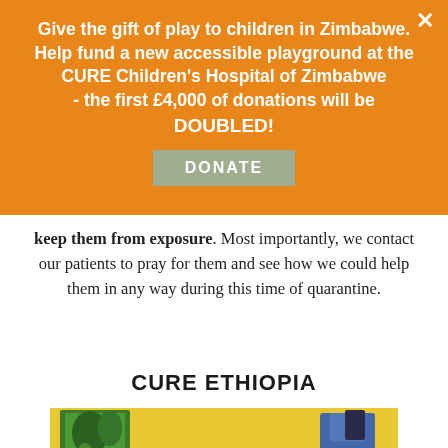[Figure (infographic): Orange banner overlay with close button (×). Contains bold white text promoting a donation campaign for a playground at CURE Children's Hospital of Zimbabwe, with a 'DONATE' button.]
keep them from exposure. Most importantly, we contact our patients to pray for them and see how we could help them in any way during this time of quarantine.
CURE ETHIOPIA
[Figure (photo): Partial photo showing a colorful scene with a yellow wall, green plants on the left, and a person in blue clothing on the right side.]